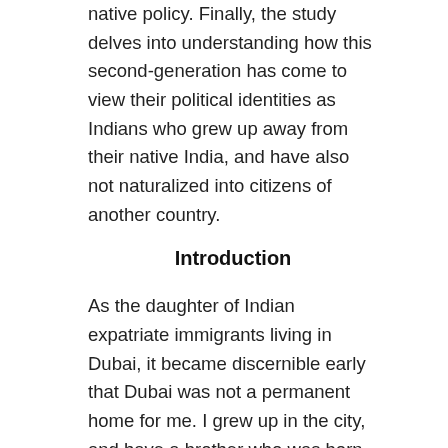native policy. Finally, the study delves into understanding how this second-generation has come to view their political identities as Indians who grew up away from their native India, and have also not naturalized into citizens of another country.
Introduction
As the daughter of Indian expatriate immigrants living in Dubai, it became discernible early that Dubai was not a permanent home for me. I grew up in the city, and have a brother who was born and is currently being raised there. However, my parents made it evident that we, as children of expatriate immigrants, were living in an environment where becoming naturalized citizens was not a possibility. This was largely due to the citizenship laws of the state, wherein citizenship is not granted by birth.